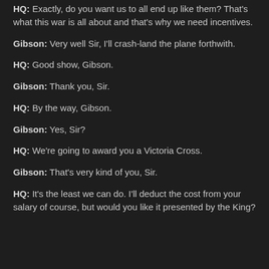HQ: Exactly, do you want us to all end up like them? That's what this war is all about and that's why we need incentives.
Gibson: Very well Sir, I'll crash-land the plane forthwith.
HQ: Good show, Gibson.
Gibson: Thank you, Sir.
HQ: By the way, Gibson.
Gibson: Yes, Sir?
HQ: We're going to award you a Victoria Cross.
Gibson: That's very kind of you, Sir.
HQ: It's the least we can do. I'll deduct the cost from your salary of course, but would you like it presented by the King?